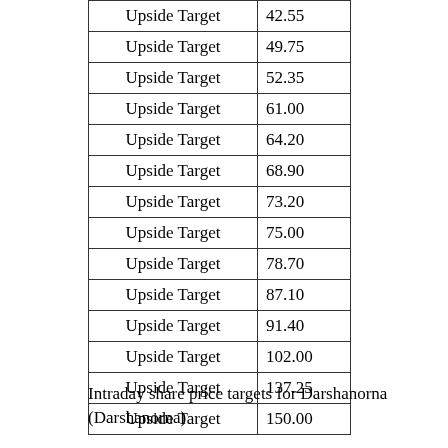| Upside Target | 42.55 |
| Upside Target | 49.75 |
| Upside Target | 52.35 |
| Upside Target | 61.00 |
| Upside Target | 64.20 |
| Upside Target | 68.90 |
| Upside Target | 73.20 |
| Upside Target | 75.00 |
| Upside Target | 78.70 |
| Upside Target | 87.10 |
| Upside Target | 91.40 |
| Upside Target | 102.00 |
| Upside Target | 137.25 |
| Upside Target | 150.00 |
Intraday share price targets for Darshanorna (Darshanorna)